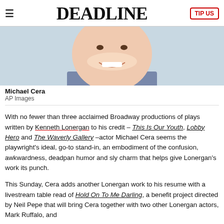DEADLINE
[Figure (photo): Close-up photo of Michael Cera smiling, wearing a blue striped shirt, light blue/grey background]
Michael Cera
AP Images
With no fewer than three acclaimed Broadway productions of plays written by Kenneth Lonergan to his credit – This Is Our Youth, Lobby Hero and The Waverly Gallery –actor Michael Cera seems the playwright's ideal, go-to stand-in, an embodiment of the confusion, awkwardness, deadpan humor and sly charm that helps give Lonergan's work its punch.
This Sunday, Cera adds another Lonergan work to his resume with a livestream table read of Hold On To Me Darling, a benefit project directed by Neil Pepe that will bring Cera together with two other Lonergan actors, Mark Ruffalo, and...